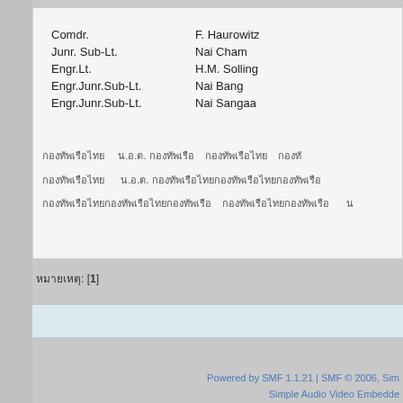| Role | Name |
| --- | --- |
| Comdr. | F. Haurowitz |
| Junr. Sub-Lt. | Nai Cham |
| Engr.Lt. | H.M. Solling |
| Engr.Junr.Sub-Lt. | Nai Bang |
| Engr.Junr.Sub-Lt. | Nai Sangaa |
Thai text lines (partially visible)
หมายเหตุ: [1]
Powered by SMF 1.1.21 | SMF © 2006, Simple Audio Video Embedder | XHTML | CSS | Aero79 design by Bloc ...